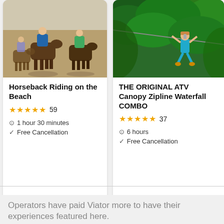[Figure (photo): People riding horses on a beach, brown sand, shadows visible]
Horseback Riding on the Beach
★★★★★ 59
1 hour 30 minutes
Free Cancellation
from $75.00
[Figure (photo): Person ziplining through green jungle canopy]
THE ORIGINAL ATV Canopy Zipline Waterfall COMBO
★★★★★ 37
6 hours
Free Cancellation
from $179.00
Operators have paid Viator more to have their experiences featured here.